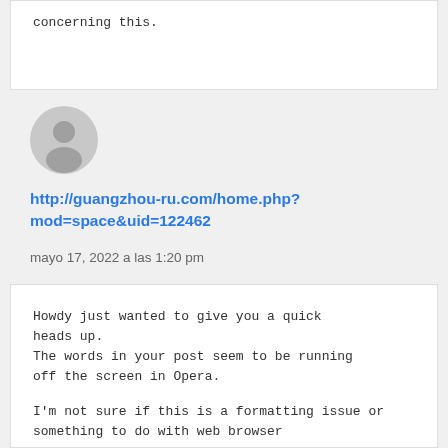concerning this.
[Figure (illustration): Gray user avatar circle icon]
http://guangzhou-ru.com/home.php?mod=space&uid=122462
mayo 17, 2022 a las 1:20 pm
Howdy just wanted to give you a quick heads up.
The words in your post seem to be running off the screen in Opera.

I'm not sure if this is a formatting issue or something to do with web browser